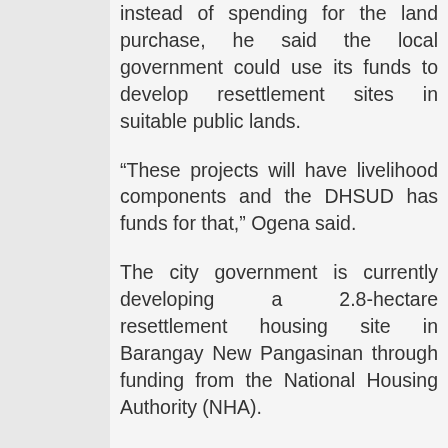instead of spending for the land purchase, he said the local government could use its funds to develop resettlement sites in suitable public lands.
“These projects will have livelihood components and the DHSUD has funds for that,” Ogena said.
The city government is currently developing a 2.8-hectare resettlement housing site in Barangay New Pangasinan through funding from the National Housing Authority (NHA).
Ogena said NHA has approved the release of a PHP25 million grant and a loan for another PHP25 million for the construction of the